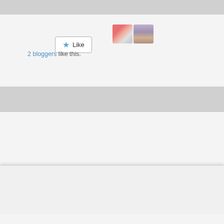[Figure (other): Like button with star icon and two blogger avatars]
2 bloggers like this.
Related
[Figure (photo): Bowl of mayo/cream with garnish]
[Figure (other): Stop sign styled image with text: STOP THINK OBSERVE]
Privacy & Cookies: This site uses cookies. By continuing to use this website, you agree to their use. To find out more, including how to control cookies, see here: Our Cookie Policy
Close and accept